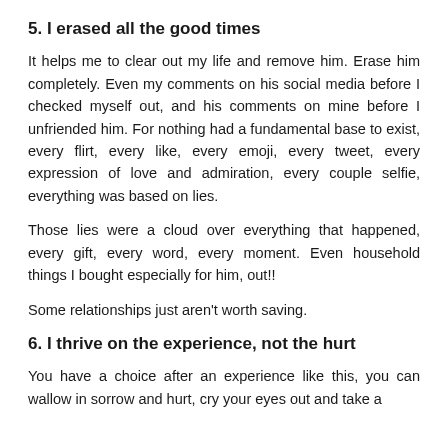5. I erased all the good times
It helps me to clear out my life and remove him. Erase him completely. Even my comments on his social media before I checked myself out, and his comments on mine before I unfriended him. For nothing had a fundamental base to exist, every flirt, every like, every emoji, every tweet, every expression of love and admiration, every couple selfie, everything was based on lies.
Those lies were a cloud over everything that happened, every gift, every word, every moment. Even household things I bought especially for him, out!!
Some relationships just aren't worth saving.
6. I thrive on the experience, not the hurt
You have a choice after an experience like this, you can wallow in sorrow and hurt, cry your eyes out and take a